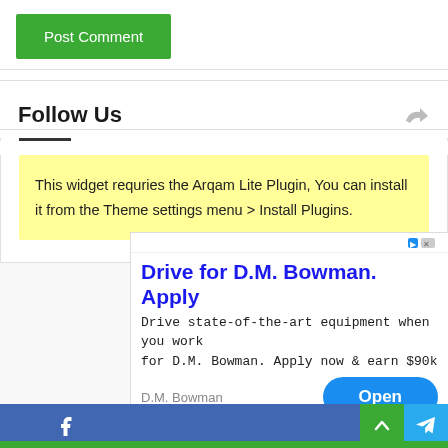[Figure (screenshot): Green 'Post Comment' button]
Follow Us
This widget requries the Arqam Lite Plugin, You can install it from the Theme settings menu > Install Plugins.
[Figure (screenshot): Advertisement: Drive for D.M. Bowman. Apply. Drive state-of-the-art equipment when you work for D.M. Bowman. Apply now & earn $90k. Open button.]
Facebook and Telegram social share bar